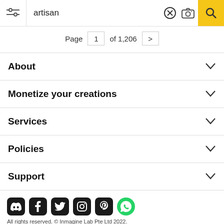[Figure (screenshot): Search bar with filter icon, text 'artisan', clear button, camera button, and yellow search button]
Page 1 of 1,206 >
About
Monetize your creations
Services
Policies
Support
[Figure (illustration): Social media icons row: Discord, Facebook, Twitter, Instagram, Pinterest, WhatsApp]
All rights reserved. © Inmagine Lab Pte Ltd 2022.